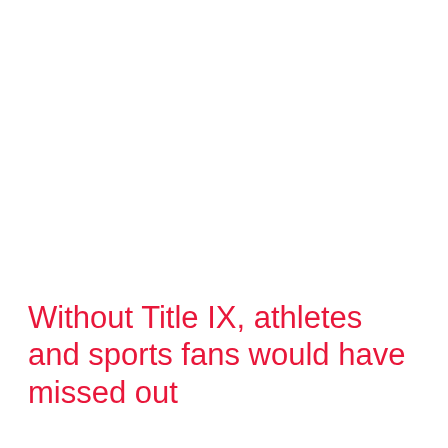Without Title IX, athletes and sports fans would have missed out